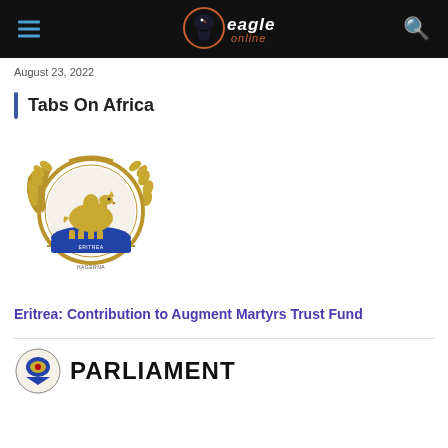Eagle Online
August 23, 2022
Tabs On Africa
[Figure (logo): Eritrea national emblem showing a golden camel inside a circle with olive branches and a blue banner at the bottom]
Eritrea: Contribution to Augment Martyrs Trust Fund
[Figure (logo): Parliament logo with colorful emblem and text PARLIAMENT in bold black letters]